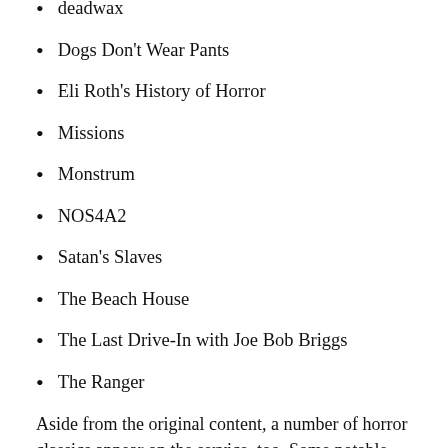deadwax
Dogs Don't Wear Pants
Eli Roth's History of Horror
Missions
Monstrum
NOS4A2
Satan's Slaves
The Beach House
The Last Drive-In with Joe Bob Briggs
The Ranger
Aside from the original content, a number of horror classics appear on the service, too. Some notable mentions include It Follows and the Halloween series.